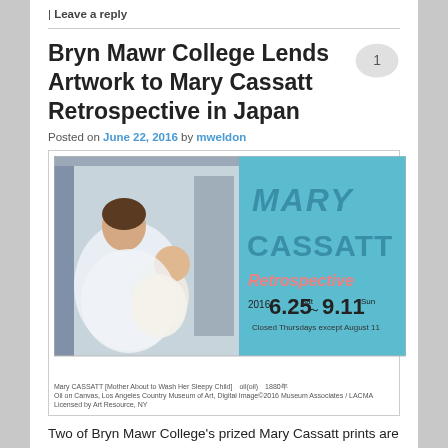| Leave a reply
Bryn Mawr College Lends Artwork to Mary Cassatt Retrospective in Japan
Posted on June 22, 2016 by mweldon
[Figure (photo): Exhibition poster for Mary Cassatt Retrospective 2016, showing a painting of a mother and child on the left and the exhibit branding on the right: MARY CASSATT Retrospective, 2016 6.25 Sat ~ 9.11 Sun. Closed Thursdays except August 11.]
Mary CASSATT [Mother About to Wash Her Sleepy Child] oil(oil) 1880年 Oil on Canvas, Los Angeles Country Museum of Art, Digital Image©2016 Museum Associates / LACMA Licensed by Art Resource, NY
Two of Bryn Mawr College's prized Mary Cassatt prints are now on view in Yokohama, Japan. The artist's